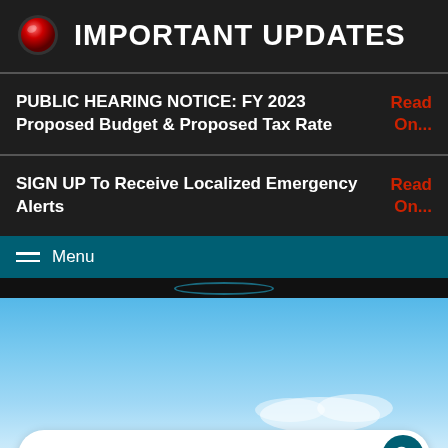IMPORTANT UPDATES
PUBLIC HEARING NOTICE: FY 2023 Proposed Budget & Proposed Tax Rate — Read On...
SIGN UP To Receive Localized Emergency Alerts — Read On...
Menu
[Figure (photo): Blue sky background with white clouds fading at bottom]
How can we help...